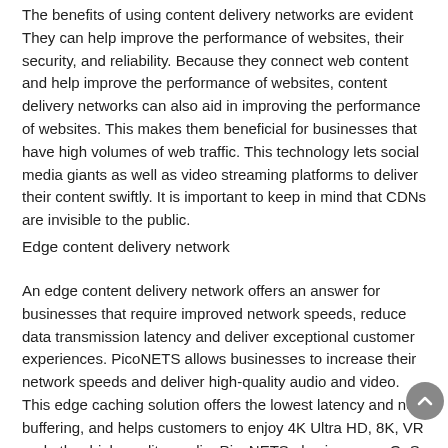The benefits of using content delivery networks are evident They can help improve the performance of websites, their security, and reliability. Because they connect web content and help improve the performance of websites, content delivery networks can also aid in improving the performance of websites. This makes them beneficial for businesses that have high volumes of web traffic. This technology lets social media giants as well as video streaming platforms to deliver their content swiftly. It is important to keep in mind that CDNs are invisible to the public.
Edge content delivery network
An edge content delivery network offers an answer for businesses that require improved network speeds, reduce data transmission latency and deliver exceptional customer experiences. PicoNETS allows businesses to increase their network speeds and deliver high-quality audio and video. This edge caching solution offers the lowest latency and no buffering, and helps customers to enjoy 4K Ultra HD, 8K, VR and other high-quality media. PicoNETS also improves QoS